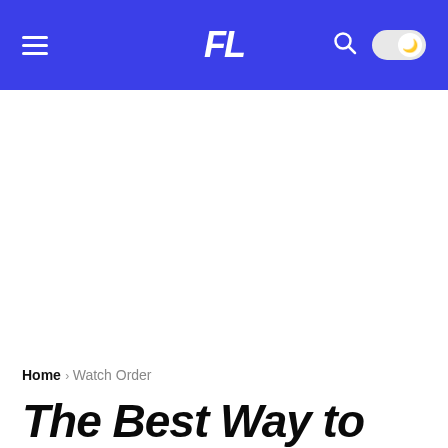FL
Home › Watch Order
The Best Way to